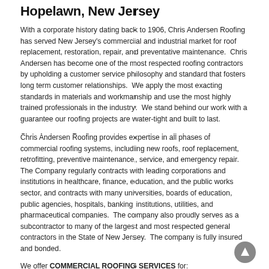Hopelawn, New Jersey
With a corporate history dating back to 1906, Chris Andersen Roofing has served New Jersey's commercial and industrial market for roof replacement, restoration, repair, and preventative maintenance.  Chris Andersen has become one of the most respected roofing contractors by upholding a customer service philosophy and standard that fosters long term customer relationships.  We apply the most exacting standards in materials and workmanship and use the most highly trained professionals in the industry.  We stand behind our work with a guarantee our roofing projects are water-tight and built to last.
Chris Andersen Roofing provides expertise in all phases of commercial roofing systems, including new roofs, roof replacement, retrofitting, preventive maintenance, service, and emergency repair. The Company regularly contracts with leading corporations and institutions in healthcare, finance, education, and the public works sector, and contracts with many universities, boards of education, public agencies, hospitals, banking institutions, utilities, and pharmaceutical companies.  The company also proudly serves as a subcontractor to many of the largest and most respected general contractors in the State of New Jersey.  The company is fully insured and bonded.
We offer COMMERCIAL ROOFING SERVICES for:
[Figure (other): Circular up-arrow navigation button]